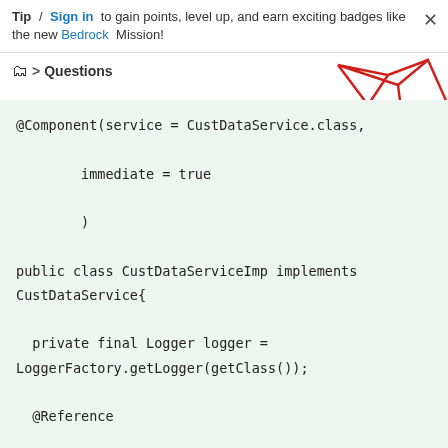Tip / Sign in to gain points, level up, and earn exciting badges like the new Bedrock Mission!
> Questions
[Figure (illustration): Decorative geometric red line polygon and orange circle shapes in the top-right corner]
@Component(service = CustDataService.class,

        immediate = true

        )

public class CustDataServiceImp implements CustDataService{

  private final Logger logger = LoggerFactory.getLogger(getClass());

  @Reference

      private DataSourcePool source;

  //Returns the number of customs in the Customer table

  public String getTotalCustomers()